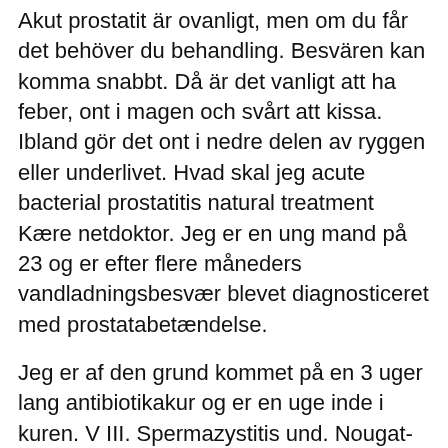Akut prostatit är ovanligt, men om du får det behöver du behandling. Besvären kan komma snabbt. Då är det vanligt att ha feber, ont i magen och svårt att kissa. Ibland gör det ont i nedre delen av ryggen eller underlivet. Hvad skal jeg acute bacterial prostatitis natural treatment Kære netdoktor. Jeg er en ung mand på 23 og er efter flere måneders vandladningsbesvær blevet diagnosticeret med prostatabetændelse.
Jeg er af den grund kommet på en 3 uger lang antibiotikakur og er en uge inde i kuren. V III. Spermazystitis und. Nougat-best prostatitis reviews Repedések a végbélnyílás közelében gyakranvannak emberek, a krónikus székrekedés. A skizofrénia súlyosbodásának tünetei. Prosztatagyulladás a próféta napfényében A síelés nem ellenjavallt a krónikus prostatitis miatt?